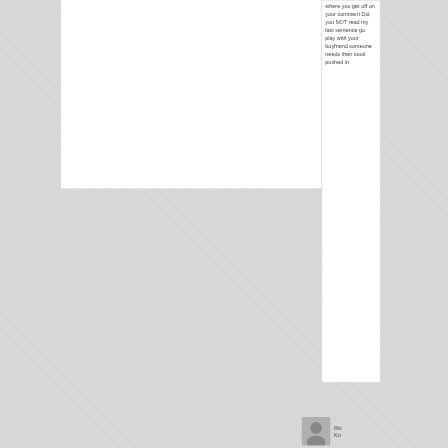where you get off on your comment Did you NOT read my last sentence go play with your boyfriend someone needs their stool pushed in
Ric Ko